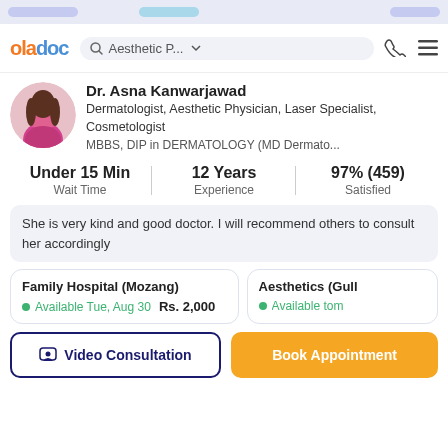[Figure (screenshot): OladDoc app navigation bar with logo, search field showing 'Aesthetic P...', phone icon, and hamburger menu]
[Figure (photo): Circular profile photo of Dr. Asna Kanwarjawad wearing a pink top]
Dr. Asna Kanwarjawad
Dermatologist, Aesthetic Physician, Laser Specialist, Cosmetologist
MBBS, DIP in DERMATOLOGY (MD Dermato...
Under 15 Min
Wait Time
12 Years
Experience
97% (459)
Satisfied
She is very kind and good doctor. I will recommend others to consult her accordingly
Family Hospital (Mozang)
Available Tue, Aug 30   Rs. 2,000
Aesthetics (Gull
Available tom
Video Consultation
Book Appointment